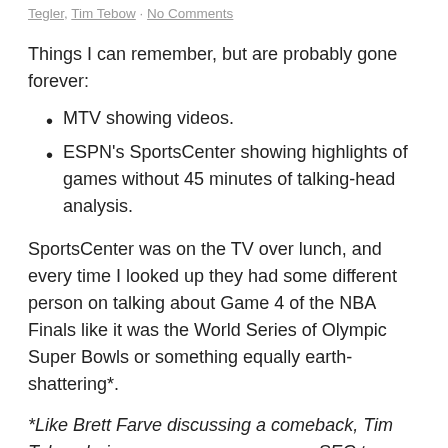Tegler, Tim Tebow · No Comments
Things I can remember, but are probably gone forever:
MTV showing videos.
ESPN's SportsCenter showing highlights of games without 45 minutes of talking-head analysis.
SportsCenter was on the TV over lunch, and every time I looked up they had some different person on talking about Game 4 of the NBA Finals like it was the World Series of Olympic Super Bowls or something equally earth-shattering*.
*Like Brett Farve discussing a comeback, Tim Tebow being super-awesome, or an SEC team perfecting football.
Look – I get it, the NBA Finals are the championship for one of America's major professional sports.  It deserves more coverage, insight, and analysis than a regular